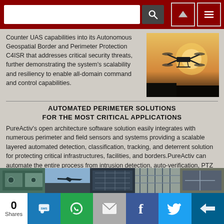[Figure (screenshot): Website navigation bar with search box, search icon, up-arrow button, and hamburger menu button on dark red background]
Counter UAS capabilities into its Autonomous Geospatial Border and Perimeter Protection C4ISR that addresses critical security threats, further demonstrating the system's scalability and resiliency to enable all-domain command and control capabilities.
[Figure (photo): Silhouette of a drone/quadcopter against a warm orange sunset sky]
AUTOMATED PERIMETER SOLUTIONS FOR THE MOST CRITICAL APPLICATIONS
PureActiv's open architecture software solution easily integrates with numerous perimeter and field sensors and systems providing a scalable layered automated detection, classification, tracking, and deterrent solution for protecting critical infrastructures, facilities, and borders.PureActiv can automate the entire process from intrusion detection, auto-verification, PTZ Auto-follow, and invoking non-lethal acoustic deterrents.
[Figure (photo): Strip of photos showing various perimeter security scenarios including surveillance cameras, aircraft, infrastructure]
[Figure (screenshot): Social media share bar with 0 Shares, SMS, WhatsApp, Email, Facebook, Twitter, and more buttons]